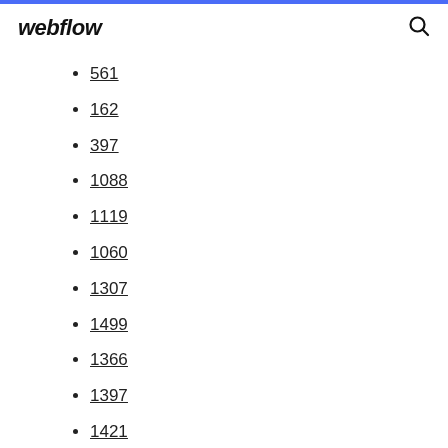webflow
561
162
397
1088
1119
1060
1307
1499
1366
1397
1421
1642